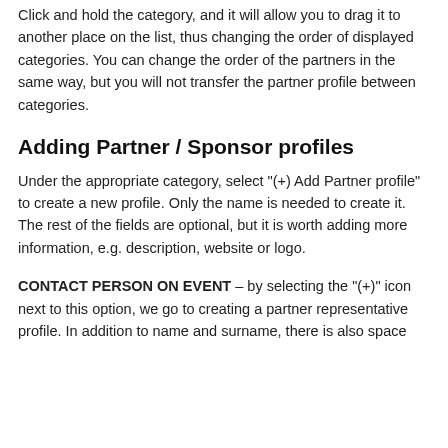Click and hold the category, and it will allow you to drag it to another place on the list, thus changing the order of displayed categories. You can change the order of the partners in the same way, but you will not transfer the partner profile between categories.
Adding Partner / Sponsor profiles
Under the appropriate category, select "(+) Add Partner profile" to create a new profile. Only the name is needed to create it. The rest of the fields are optional, but it is worth adding more information, e.g. description, website or logo.
CONTACT PERSON ON EVENT – by selecting the "(+)" icon next to this option, we go to creating a partner representative profile. In addition to name and surname, there is also space